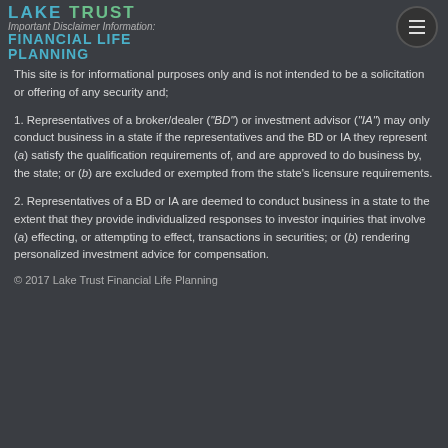Lake Trust Financial Life Planning
This site is for informational purposes only and is not intended to be a solicitation or offering of any security and;
1. Representatives of a broker/dealer (“BD”) or investment advisor (“IA”) may only conduct business in a state if the representatives and the BD or IA they represent (a) satisfy the qualification requirements of, and are approved to do business by, the state; or (b) are excluded or exempted from the state’s licensure requirements.
2. Representatives of a BD or IA are deemed to conduct business in a state to the extent that they provide individualized responses to investor inquiries that involve (a) effecting, or attempting to effect, transactions in securities; or (b) rendering personalized investment advice for compensation.
© 2017 Lake Trust Financial Life Planning